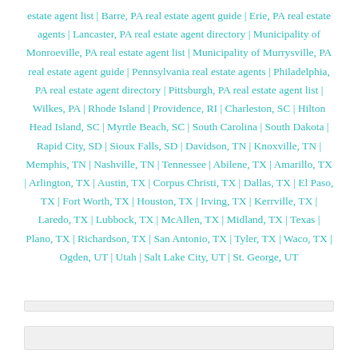estate agent list | Barre, PA real estate agent guide | Erie, PA real estate agents | Lancaster, PA real estate agent directory | Municipality of Monroeville, PA real estate agent list | Municipality of Murrysville, PA real estate agent guide | Pennsylvania real estate agents | Philadelphia, PA real estate agent directory | Pittsburgh, PA real estate agent list | Wilkes, PA | Rhode Island | Providence, RI | Charleston, SC | Hilton Head Island, SC | Myrtle Beach, SC | South Carolina | South Dakota | Rapid City, SD | Sioux Falls, SD | Davidson, TN | Knoxville, TN | Memphis, TN | Nashville, TN | Tennessee | Abilene, TX | Amarillo, TX | Arlington, TX | Austin, TX | Corpus Christi, TX | Dallas, TX | El Paso, TX | Fort Worth, TX | Houston, TX | Irving, TX | Kerrville, TX | Laredo, TX | Lubbock, TX | McAllen, TX | Midland, TX | Texas | Plano, TX | Richardson, TX | San Antonio, TX | Tyler, TX | Waco, TX | Ogden, UT | Utah | Salt Lake City, UT | St. George, UT